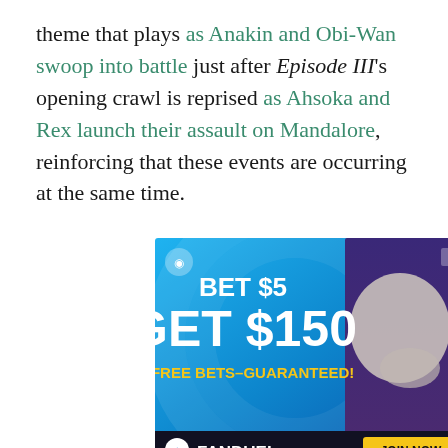theme that plays as Anakin and Obi-Wan swoop into battle just after Episode III's opening crawl is reprised as Ahsoka and Rex launch their assault on Mandalore, reinforcing that these events are occurring at the same time.
[Figure (other): FanDuel advertisement: BET $5 GET $150 IN FREE BETS–GUARANTEED! with JOIN NOW button]
THE RINGER [logo] [Twitter icon] [Facebook icon]